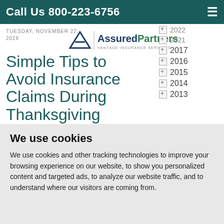Call Us 800-223-6756
TUESDAY, NOVEMBER 22, 2016
[Figure (logo): AssuredPartners logo with triangle A icon and text 'VANTAGE INSURANCE SERVICES']
Simple Tips to Avoid Insurance Claims During Thanksgiving Travel
2022
2021
2017
2016
2015
2014
2013
We use cookies
We use cookies and other tracking technologies to improve your browsing experience on our website, to show you personalized content and targeted ads, to analyze our website traffic, and to understand where our visitors are coming from.